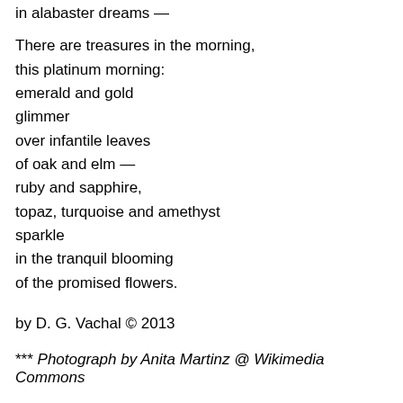in alabaster dreams —

There are treasures in the morning,
this platinum morning:
emeraid and gold
glimmer
over infantile leaves
of oak and elm —
ruby and sapphire,
topaz, turquoise and amethyst
sparkle
in the tranquil blooming
of the promised flowers.
by D. G. Vachal © 2013
*** Photograph by Anita Martinz @ Wikimedia Commons